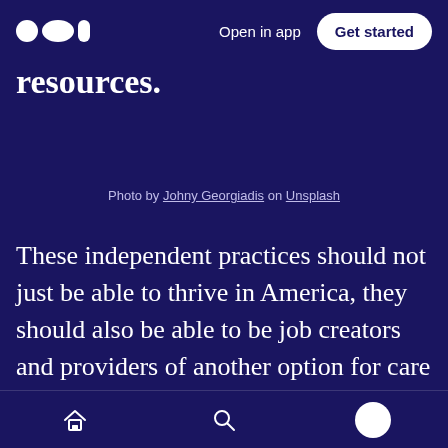Medium app header — Open in app | Get started
resources.
Photo by Johny Georgiadis on Unsplash
These independent practices should not just be able to thrive in America, they should also be able to be job creators and providers of another option for care among the patient groups that need choice the most. The right kind of practice management system — one that is not just software-based, but also give doctors access to human expertise — will help independent doctors
Home | Search | Profile